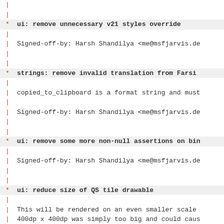* ui: remove unnecessary v21 styles override
| Signed-off-by: Harsh Shandilya <me@msfjarvis.de
* strings: remove invalid translation from Farsi
| copied_to_clipboard is a format string and must
| Signed-off-by: Harsh Shandilya <me@msfjarvis.de
* ui: remove some more non-null assertions on bin
| Signed-off-by: Harsh Shandilya <me@msfjarvis.de
* ui: reduce size of QS tile drawable
| This will be rendered on an even smaller scale
| 400dp x 400dp was simply too big and could caus
| Signed-off-by: Harsh Shandilya <me@msfjarvis.de